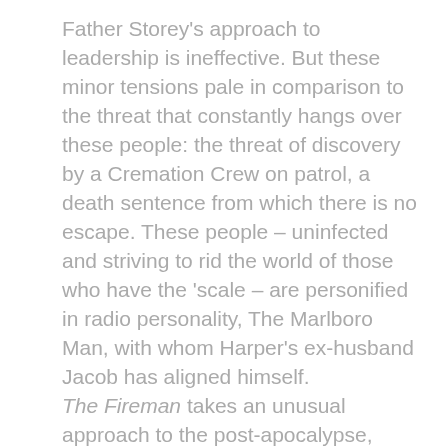Father Storey's approach to leadership is ineffective. But these minor tensions pale in comparison to the threat that constantly hangs over these people: the threat of discovery by a Cremation Crew on patrol, a death sentence from which there is no escape. These people – uninfected and striving to rid the world of those who have the 'scale – are personified in radio personality, The Marlboro Man, with whom Harper's ex-husband Jacob has aligned himself.

The Fireman takes an unusual approach to the post-apocalypse, turning our expectations on their heads, and asking us to root for the people who would normally